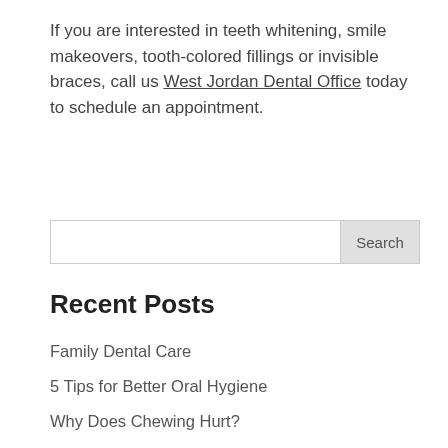If you are interested in teeth whitening, smile makeovers, tooth-colored fillings or invisible braces, call us West Jordan Dental Office today to schedule an appointment.
Recent Posts
Family Dental Care
5 Tips for Better Oral Hygiene
Why Does Chewing Hurt?
A Spa Day for Your Teeth